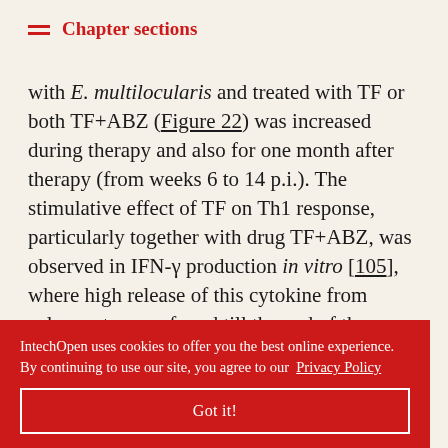Chapter sections
with E. multilocularis and treated with TF or both TF+ABZ (Figure 22) was increased during therapy and also for one month after therapy (from weeks 6 to 14 p.i.). The stimulative effect of TF on Th1 response, particularly together with drug TF+ABZ, was observed in IFN-γ production in vitro [105], where high release of this cytokine from splenocytes was found till the end of the experiment. Similar results were achieved in mice with tuberculosis and treated with TF and antibiotics [98]. Th1-inducing ... umour ... n of IL-5 in ... ularis and ... was ... nt. This is consistent with an inhibited production of IL-5 in
IntechOpen uses cookies to offer you the best online experience. By continuing to use our site, you agree to our Privacy Policy
Got it!